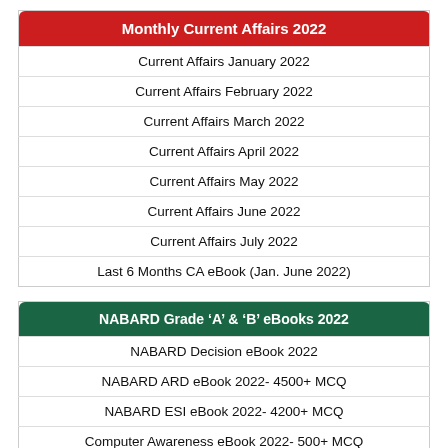Monthly Current Affairs 2022
Current Affairs January 2022
Current Affairs February 2022
Current Affairs March 2022
Current Affairs April 2022
Current Affairs May 2022
Current Affairs June 2022
Current Affairs July 2022
Last 6 Months CA eBook (Jan. June 2022)
NABARD Grade ‘A’ & ‘B’ eBooks 2022
NABARD Decision eBook 2022
NABARD ARD eBook 2022- 4500+ MCQ
NABARD ESI eBook 2022- 4200+ MCQ
Computer Awareness eBook 2022- 500+ MCQ